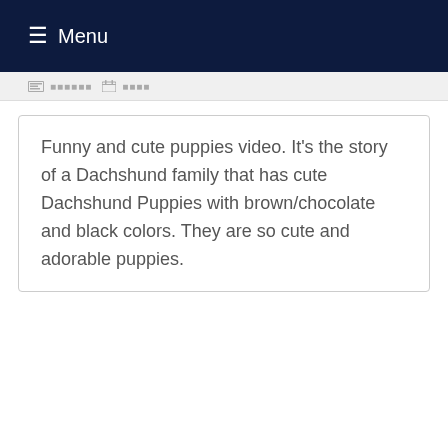☰ Menu
Funny and cute puppies video. It's the story of a Dachshund family that has cute Dachshund Puppies with brown/chocolate and black colors. They are so cute and adorable puppies.